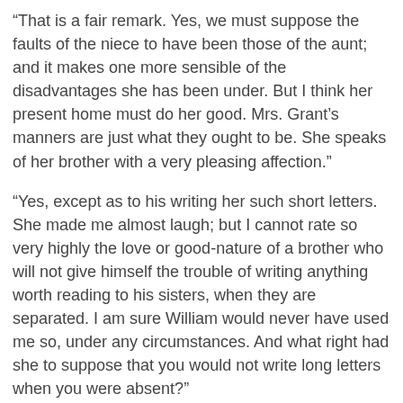“That is a fair remark. Yes, we must suppose the faults of the niece to have been those of the aunt; and it makes one more sensible of the disadvantages she has been under. But I think her present home must do her good. Mrs. Grant’s manners are just what they ought to be. She speaks of her brother with a very pleasing affection.”
“Yes, except as to his writing her such short letters. She made me almost laugh; but I cannot rate so very highly the love or good-nature of a brother who will not give himself the trouble of writing anything worth reading to his sisters, when they are separated. I am sure William would never have used me so, under any circumstances. And what right had she to suppose that you would not write long letters when you were absent?”
“The right of a lively mind, Fanny, seizing whatever may contribute to its own amusement or that of others; perfectly allowable, when untinctured by ill-humour or roughness; and there is not a shadow of either in the countenance or manner of Miss Crawford: nothing sharp, or loud, or coarse. She is perfectly feminine, except in the instances we have been